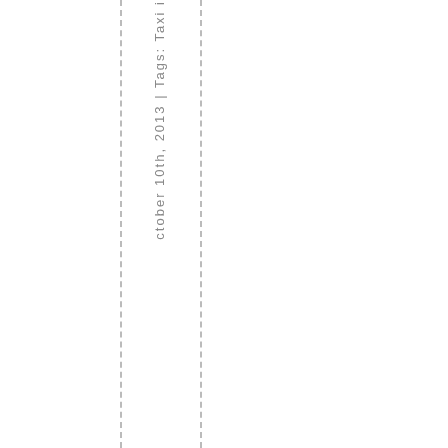ctober 10th, 2013 | Tags: Taxi i